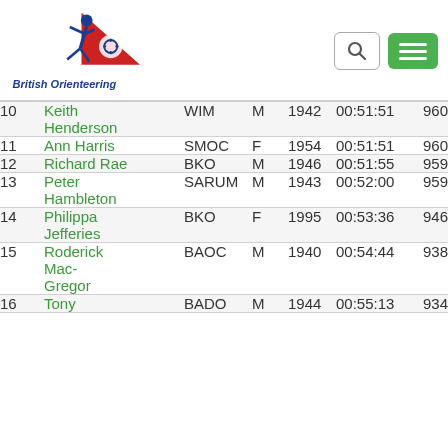[Figure (logo): British Orienteering logo with runner and compass rose graphic, text 'British Orienteering' in blue]
| Pos | Name | Club | Gender | Year | Time | Score |
| --- | --- | --- | --- | --- | --- | --- |
| 10 | Keith Henderson | WIM | M | 1942 | 00:51:51 | 960 |
| 11 | Ann Harris | SMOC | F | 1954 | 00:51:51 | 960 |
| 12 | Richard Rae | BKO | M | 1946 | 00:51:55 | 959 |
| 13 | Peter Hambleton | SARUM | M | 1943 | 00:52:00 | 959 |
| 14 | Philippa Jefferies | BKO | F | 1995 | 00:53:36 | 946 |
| 15 | Roderick Mac-Gregor | BAOC | M | 1940 | 00:54:44 | 938 |
| 16 | Tony | BADO | M | 1944 | 00:55:13 | 934 |